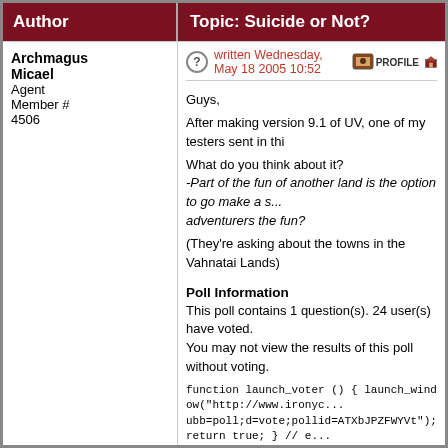Author | Topic: Suicide or Not?
Archmagus Micael
Agent
Member # 4506
written Wednesday, May 18 2005 10:52
Guys,

After making version 9.1 of UV, one of my testers sent in thi

What do you think about it?
-Part of the fun of another land is the option to go make a s... adventurers the fun?

(They're asking about the towns in the Vahnatai Lands)
Poll Information
This poll contains 1 question(s). 24 user(s) have voted.
You may not view the results of this poll without voting.
function launch_voter () { launch_window("http://www.ironyc... ubb=poll;d=vote;pollid=ATXbJPZFWYVt"); return true; } // e... launch_window("http://www.ironycentral.com/cgi-bin/ubb/ult... return true; } // end launch_viewer function launch_window ... "width=550,height=300,toolbar=no,location=no,directories=... ); window.preview.focus(); return preview; } // end launch_w
--------------------
"You dare Trifle with Avernum?" ~ Erika the Archmage
--------------------
My Scenarios:
Undead Valley : A small Undead problem, what could possi...
--------------------